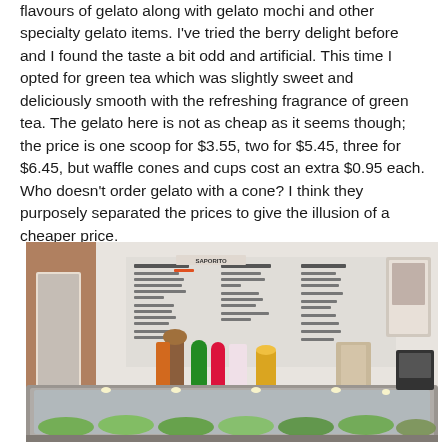flavours of gelato along with gelato mochi and other specialty gelato items. I've tried the berry delight before and I found the taste a bit odd and artificial. This time I opted for green tea which was slightly sweet and deliciously smooth with the refreshing fragrance of green tea. The gelato here is not as cheap as it seems though; the price is one scoop for $3.55, two for $5.45, three for $6.45, but waffle cones and cups cost an extra $0.95 each. Who doesn't order gelato with a cone? I think they purposely separated the prices to give the illusion of a cheaper price.
[Figure (photo): Interior photo of a gelato shop showing a curved glass display case with gelato flavours, colourful waffle cones, and a menu board on the wall behind the counter.]